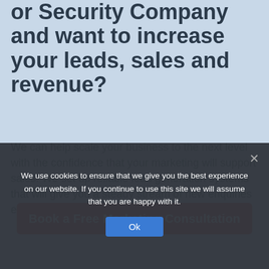or Security Company and want to increase your leads, sales and revenue?
We can help scale your business to the next level with the confidence that your marketing will support sales. We set up reliable lead generation systems that will give you a steady stream of new enquiries every week.
Book a Free Marketing Consultation
We use cookies to ensure that we give you the best experience on our website. If you continue to use this site we will assume that you are happy with it.